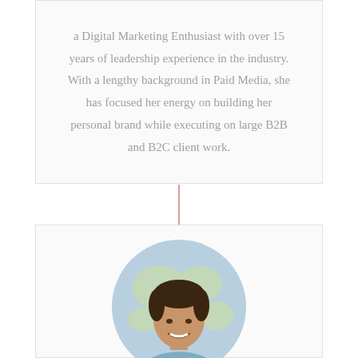a Digital Marketing Enthusiast with over 15 years of leadership experience in the industry. With a lengthy background in Paid Media, she has focused her energy on building her personal brand while executing on large B2B and B2C client work.
[Figure (photo): Circular headshot of a young man with dark hair, smiling, wearing a blue shirt, with a world map visible in the background.]